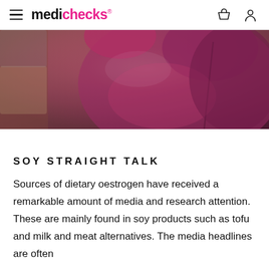medichecks
[Figure (photo): Person in a magenta/purple athletic zip-up hoodie jacket, appearing to be in motion outdoors, with a blurred background.]
SOY STRAIGHT TALK
Sources of dietary oestrogen have received a remarkable amount of media and research attention. These are mainly found in soy products such as tofu and milk and meat alternatives. The media headlines are often